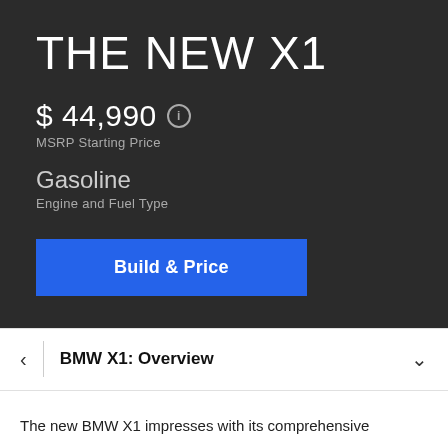THE NEW X1
$ 44,990
MSRP Starting Price
Gasoline
Engine and Fuel Type
Build & Price
BMW X1: Overview
The new BMW X1 impresses with its comprehensive